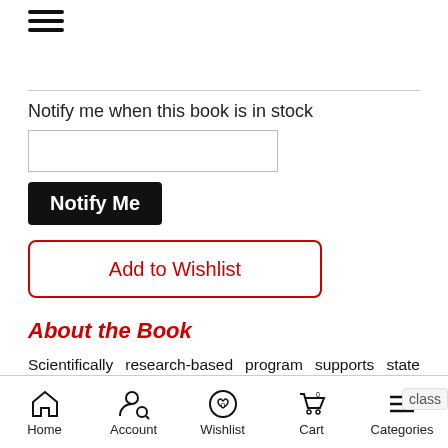[Figure (other): Hamburger menu icon (three horizontal lines)]
Notify me when this book is in stock
[Figure (other): Email input text field]
[Figure (other): Notify Me button (black background, white text)]
[Figure (other): Add to Wishlist button (red border, red text)]
About the Book
Scientifically research-based program supports state standards in literacy, science, mathematics, social studies, art and music to prepare children for Kindergarten. Teacher's Guides help build and assess children's cognitive skills, alphabet knowledge, and social-emotional development. Interactive charts with songs and activities inspire discussion and build oral vocabulary. Big Books, Trade Books
Home  Account  Wishlist  Cart  Categories